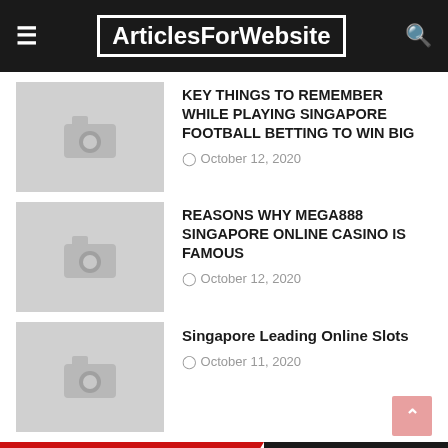ArticlesForWebsite
KEY THINGS TO REMEMBER WHILE PLAYING SINGAPORE FOOTBALL BETTING TO WIN BIG
October 12, 2020
REASONS WHY MEGA888 SINGAPORE ONLINE CASINO IS FAMOUS
October 12, 2020
Singapore Leading Online Slots
October 11, 2020
POST A COMMENT
0 Comments
To leave a comment, click the button below to sign in with Google.